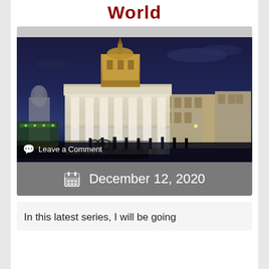World
[Figure (photo): Night photograph of a large neoclassical church or building with tall white columns, illuminated by lights against a deep blue evening sky. People and bicycles visible in the foreground plaza. Other historic buildings visible on the right side.]
Leave a Comment
December 12, 2020
In this latest series, I will be going